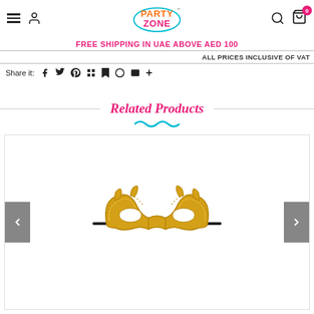Party Zone — navigation header with menu, user, logo, search, cart (0)
FREE SHIPPING IN UAE ABOVE AED 100
ALL PRICES INCLUSIVE OF VAT
Share it: [facebook] [twitter] [pinterest] [grid] [fancy] [fancy2] [email] [+]
Related Products
[Figure (photo): Gold glitter masquerade mask on a stick, displayed on white background inside product carousel with previous/next navigation arrows]